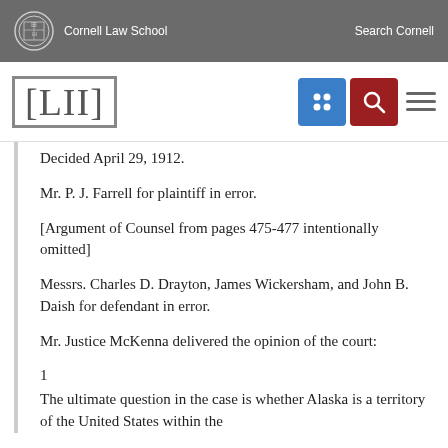Cornell Law School | Search Cornell
[Figure (logo): LII Legal Information Institute logo with navigation icons]
Decided April 29, 1912.
Mr. P. J. Farrell for plaintiff in error.
[Argument of Counsel from pages 475-477 intentionally omitted]
Messrs. Charles D. Drayton, James Wickersham, and John B. Daish for defendant in error.
Mr. Justice McKenna delivered the opinion of the court:
1
The ultimate question in the case is whether Alaska is a territory of the United States within the meaning of the interstate commerce act as